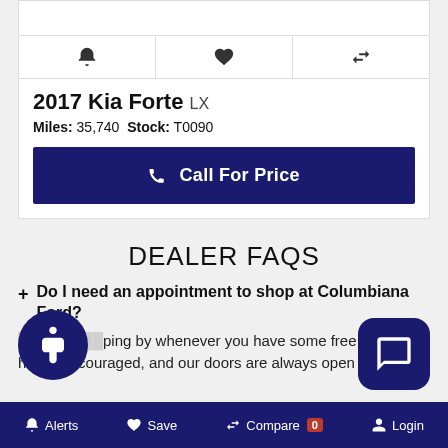[Figure (other): Card with action icons: bell (alerts), heart (save), compare arrows]
2017 Kia Forte LX
Miles: 35,740   Stock: T0090
Call For Price
DEALER FAQS
+ Do I need an appointment to shop at Columbiana Ford?
...ping by whenever you have some free time to s... highly encouraged, and our doors are always open to...
Alerts   Save   Compare 0   Login